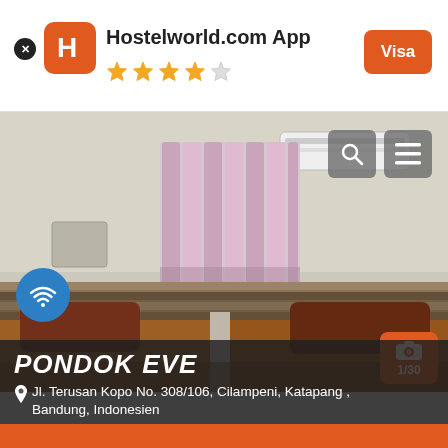[Figure (screenshot): Hostelworld.com App header bar with orange H logo, 4.5 star rating, and orange Visa button]
[Figure (photo): Hotel room interior with two beds with orange/brown bedding, pink curtains, air conditioning unit on wall, WiFi badge overlay, search and menu icons]
PONDOK EVE
Jl. Terusan Kopo No. 308/106, Cilampeni, Katapang , Bandung, Indonesien
1/30